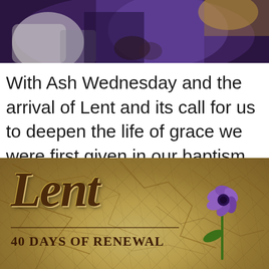[Figure (photo): Photograph of a priest or clergy member wearing purple vestments, holding something, cropped to show upper body/hands area with white and purple fabric visible]
With Ash Wednesday and the arrival of Lent and its call for us to deepen the life of grace we were first given in our baptism, throughout the Diocese of Lancaster we will be concentrating once again on the Sacrament of Reconciliation.
[Figure (illustration): Lent 40 Days of Renewal banner image with cracked dry earth background, purple flower growing through cracks, and stylized italic text 'Lent' in dark brown with '40 Days of Renewal' below]